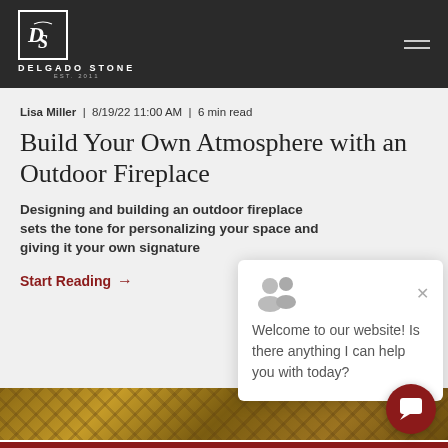[Figure (logo): Delgado Stone logo with DS monogram in white box on dark header bar]
DELGADO STONE EST. 2011
Lisa Miller | 8/19/22 11:00 AM | 6 min read
Build Your Own Atmosphere with an Outdoor Fireplace
Designing and building an outdoor fireplace sets the tone for personalizing your space and giving it your own signature
Start Reading →
[Figure (screenshot): Chat popup widget with avatar icons and welcome message: Welcome to our website! Is there anything I can help you with today?]
[Figure (photo): Outdoor fireplace with stone and wood details, partial view at bottom of page]
[Figure (other): Red circular chat button in bottom right corner]